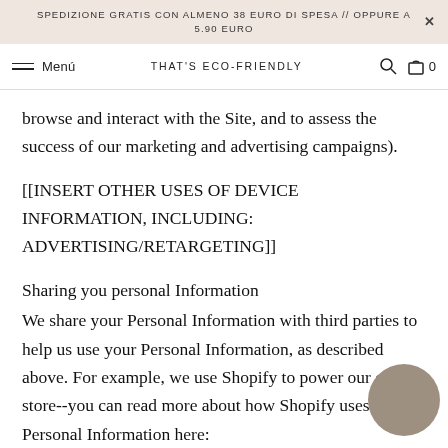SPEDIZIONE GRATIS CON ALMENO 38 EURO DI SPESA // OPPURE A 5.90 EURO
Menú  THAT'S ECO-FRIENDLY  0
browse and interact with the Site, and to assess the success of our marketing and advertising campaigns).
[[INSERT OTHER USES OF DEVICE INFORMATION, INCLUDING: ADVERTISING/RETARGETING]]
Sharing you personal Information
We share your Personal Information with third parties to help us use your Personal Information, as described above. For example, we use Shopify to power our online store--you can read more about how Shopify uses your Personal Information here: